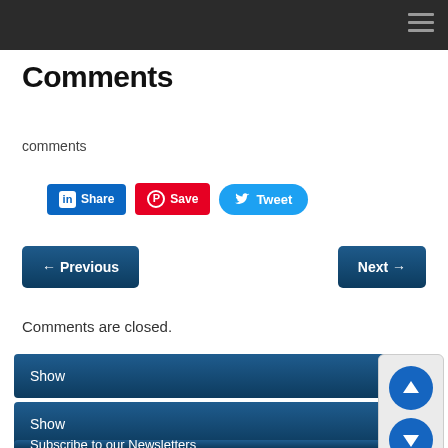Comments
comments
[Figure (infographic): Social share buttons: LinkedIn Share, Pinterest Save, Twitter Tweet]
← Previous   Next →
Comments are closed.
Show
Show
Subscribe to our Newsletters